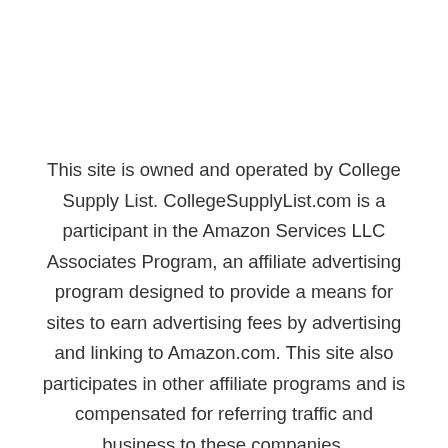This site is owned and operated by College Supply List. CollegeSupplyList.com is a participant in the Amazon Services LLC Associates Program, an affiliate advertising program designed to provide a means for sites to earn advertising fees by advertising and linking to Amazon.com. This site also participates in other affiliate programs and is compensated for referring traffic and business to these companies.